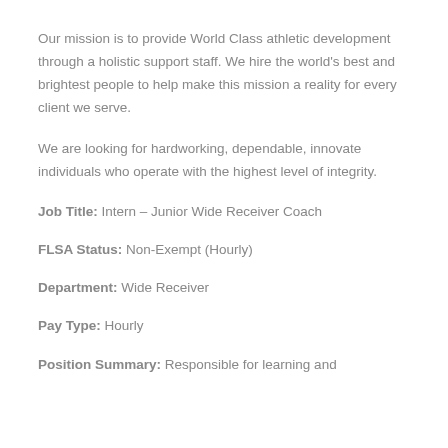Our mission is to provide World Class athletic development through a holistic support staff. We hire the world's best and brightest people to help make this mission a reality for every client we serve.
We are looking for hardworking, dependable, innovate individuals who operate with the highest level of integrity.
Job Title: Intern – Junior Wide Receiver Coach
FLSA Status: Non-Exempt (Hourly)
Department: Wide Receiver
Pay Type: Hourly
Position Summary: Responsible for learning and